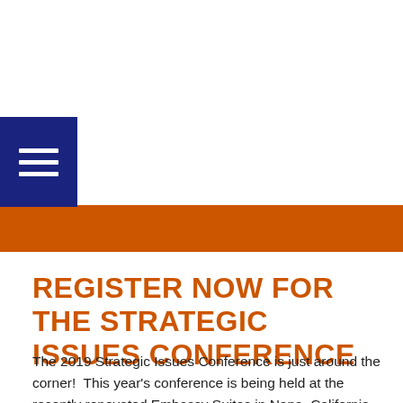[Figure (other): Dark navy blue navigation menu button with three horizontal white lines (hamburger icon)]
REGISTER NOW FOR THE STRATEGIC ISSUES CONFERENCE
The 2019 Strategic Issues Conference is just around the corner!  This year's conference is being held at the recently renovated Embassy Suites in Napa, California on December 5-6.